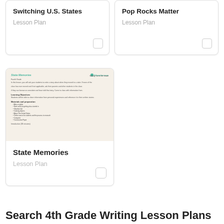Switching U.S. States
Lesson Plan
Pop Rocks Matter
Lesson Plan
[Figure (screenshot): Preview thumbnail of a State Memories lesson plan document with teal header text and Education.com logo]
State Memories
Lesson Plan
Search 4th Grade Writing Lesson Plans